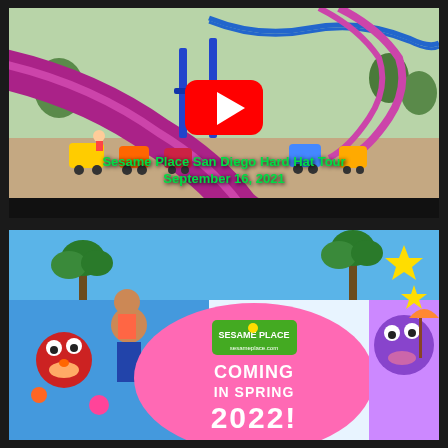[Figure (screenshot): YouTube video thumbnail showing Sesame Place San Diego theme park under construction. A purple/magenta slide is prominently visible, along with colorful ride vehicles on sandy ground and roller coaster tracks. A YouTube play button overlay is shown in the center. Green text reads 'Sesame Place San Diego Hard Hat Tour September 16, 2021'.]
[Figure (photo): Photo of a Sesame Place promotional banner/hoarding with blue sky and palm trees in background. The banner features Elmo, a family (adult and child), and Sesame Place characters. A large pink oval contains the Sesame Place logo and text 'COMING IN SPRING 2022!' with 'sesameplace.com' website.]